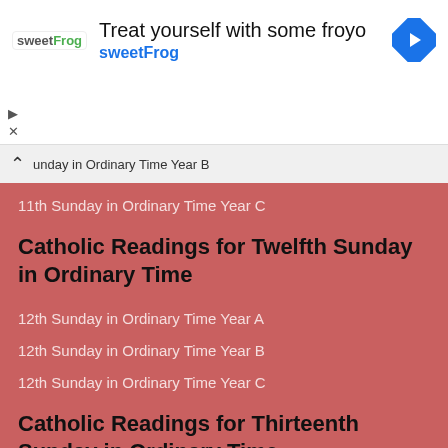[Figure (screenshot): Advertisement banner for sweetFrog frozen yogurt with logo, headline 'Treat yourself with some froyo', brand name 'sweetFrog', and a blue navigation diamond icon]
unday in Ordinary Time Year B
11th Sunday in Ordinary Time Year C
Catholic Readings for Twelfth Sunday in Ordinary Time
12th Sunday in Ordinary Time Year A
12th Sunday in Ordinary Time Year B
12th Sunday in Ordinary Time Year C
Catholic Readings for Thirteenth Sunday in Ordinary Time